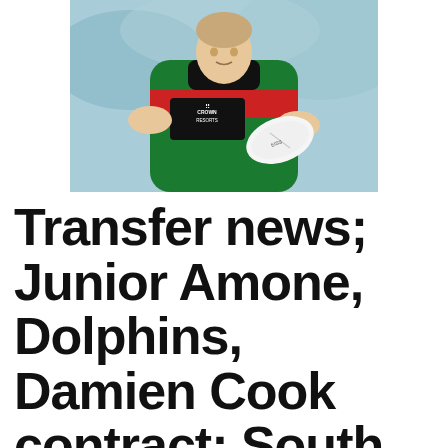[Figure (photo): Rugby league player wearing a green, red, and black South Sydney Rabbitohs jersey with Crown Resorts sponsor logo, holding a white rugby ball with EISS Super branding, outdoors with blurred crowd background.]
Transfer news; Junior Amone, Dolphins, Damien Cook contract; South Sydney begin talks on